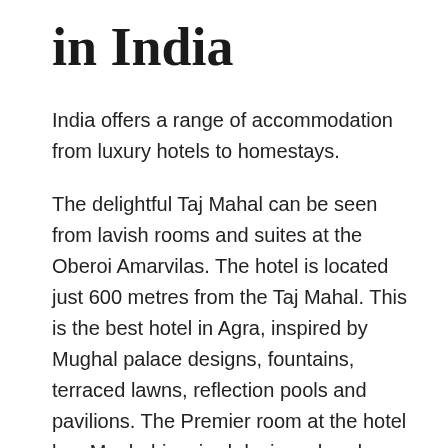in India
India offers a range of accommodation from luxury hotels to homestays.
The delightful Taj Mahal can be seen from lavish rooms and suites at the Oberoi Amarvilas. The hotel is located just 600 metres from the Taj Mahal. This is the best hotel in Agra, inspired by Mughal palace designs, fountains, terraced lawns, reflection pools and pavilions. The Premier room at the hotel has Mughal-inspired designs, hand-crafted furnishings and warm hospitality with 24-hour butler service. You may also enjoy authentic food at exquisite